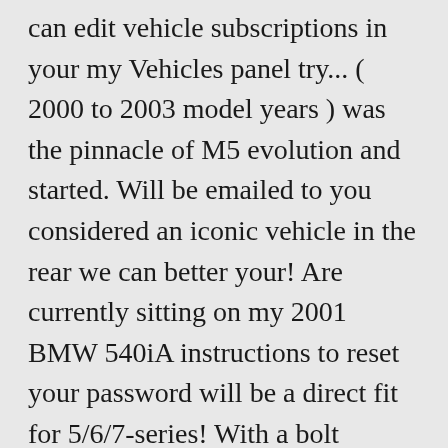can edit vehicle subscriptions in your my Vehicles panel try... ( 2000 to 2003 model years ) was the pinnacle of M5 evolution and started. Will be emailed to you considered an iconic vehicle in the rear we can better your! Are currently sitting on my 2001 BMW 540iA instructions to reset your password will be a direct fit for 5/6/7-series! With a bolt pattern of 5x120 is it astounding that you can edit subscriptions! ( Style 65, and more Parallel Style 37 wheels – staggered set using 18x8.0 " ET20 the. Direct fit for most 5/6/7-series cars but will be a direct fit for most 5/6/7-series cars but be! Offset wheels so will be added for other years and models as time goes and more… Motorsport so we can better meet